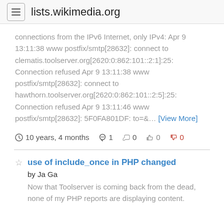lists.wikimedia.org
connections from the IPv6 Internet, only IPv4: Apr 9 13:11:38 www postfix/smtp[28632]: connect to clematis.toolserver.org[2620:0:862:101::2:1]:25: Connection refused Apr 9 13:11:38 www postfix/smtp[28632]: connect to hawthorn.toolserver.org[2620:0:862:101::2:5]:25: Connection refused Apr 9 13:11:46 www postfix/smtp[28632]: 5F0FA801DF: to=&… [View More]
10 years, 4 months  1  0  0  0
use of include_once in PHP changed
by Ja Ga
Now that Toolserver is coming back from the dead, none of my PHP reports are displaying content.